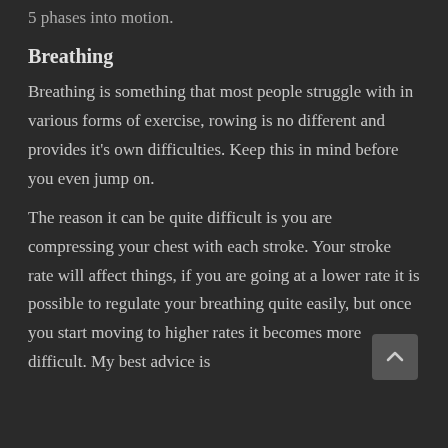5 phases into motion.
Breathing
Breathing is something that most people struggle with in various forms of exercise, rowing is no different and provides it's own difficulties. Keep this in mind before you even jump on.
The reason it can be quite difficult is you are compressing your chest with each stroke. Your stroke rate will affect things, if you are going at a lower rate it is possible to regulate your breathing quite easily, but once you start moving to higher rates it becomes more difficult. My best advice is